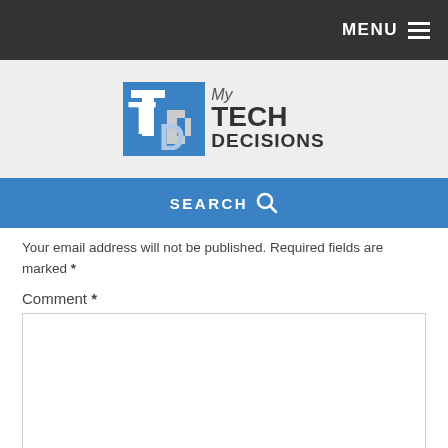MENU
[Figure (logo): My Tech Decisions logo — blue square with 'TD' letters and text 'My TECH DECISIONS']
SEARCH
Your email address will not be published. Required fields are marked *
Comment *